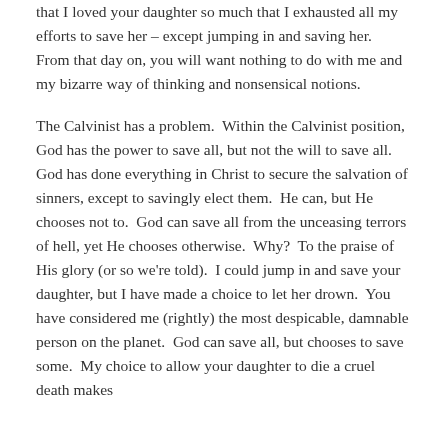that I loved your daughter so much that I exhausted all my efforts to save her – except jumping in and saving her.  From that day on, you will want nothing to do with me and my bizarre way of thinking and nonsensical notions.
The Calvinist has a problem.  Within the Calvinist position, God has the power to save all, but not the will to save all.  God has done everything in Christ to secure the salvation of sinners, except to savingly elect them.  He can, but He chooses not to.  God can save all from the unceasing terrors of hell, yet He chooses otherwise.  Why?  To the praise of His glory (or so we're told).  I could jump in and save your daughter, but I have made a choice to let her drown.  You have considered me (rightly) the most despicable, damnable person on the planet.  God can save all, but chooses to save some.  My choice to allow your daughter to die a cruel death makes